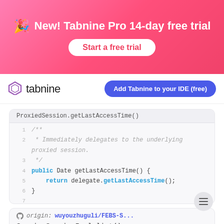[Figure (infographic): Pink/red gradient banner advertising Tabnine Pro 14-day free trial with a 'Start a free trial' button]
New! Tabnine Pro 14-day free trial
Start a free trial
[Figure (logo): Tabnine logo with hexagonal icon and text 'tabnine', plus 'Add Tabnine to your IDE (free)' button]
[Figure (screenshot): Code editor snippet showing Java method getLastAccessTime() with comment 'Immediately delegates to the underlying proxied session.' and return statement delegate.getLastAccessTime();]
origin: wuyouzhuguli/FEBS-S...
SessionServiceImpl.list()